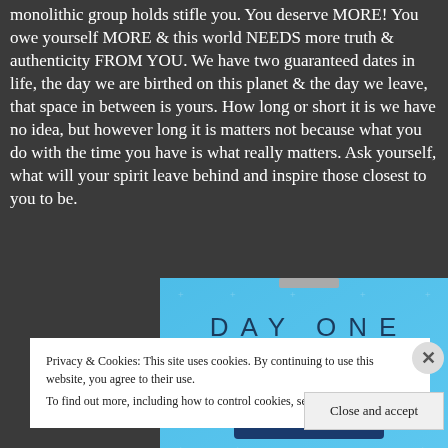monolithic group holds stifle you. You deserve MORE! You owe yourself MORE & this world NEEDS more truth & authenticity FROM YOU. We have two guaranteed dates in life, the day we are birthed on this planet & the day we leave, that space in between is yours. How long or short it is we have no idea, but however long it is matters not because what you do with the time you have is what really matters. Ask yourself, what will your spirit leave behind and inspire those closest to you to be.
[Figure (screenshot): Day One journaling app advertisement banner showing light blue background with star/cross decorations, 'DAY ONE' text in large spaced letters, tagline 'The only journaling app you'll ever need.' and a 'Get the app' button]
Privacy & Cookies: This site uses cookies. By continuing to use this website, you agree to their use.
To find out more, including how to control cookies, see here: Cookie Policy
Close and accept